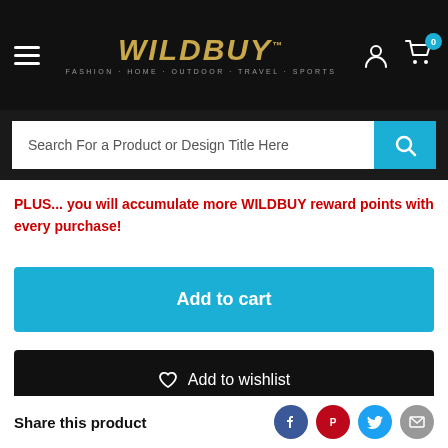[Figure (screenshot): WILDBUY website navigation bar with hamburger menu, logo (WILDBUY FASHION · HOME · OUTDOOR · TRAVEL · SPORTS), user icon, and cart icon with badge 0]
[Figure (screenshot): Search bar with placeholder text 'Search For a Product or Design Title Here' and blue search button]
PLUS... you will accumulate more WILDBUY reward points with every purchase!
Add to cart
Add to wishlist
Share this product